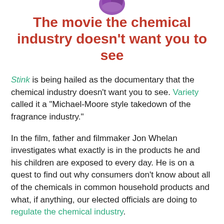[Figure (illustration): Partial image of a purple/violet cartoon or illustrated object at the top center of the page, cropped at the top edge.]
The movie the chemical industry doesn't want you to see
Stink is being hailed as the documentary that the chemical industry doesn't want you to see. Variety called it a “Michael-Moore style takedown of the fragrance industry.”
In the film, father and filmmaker Jon Whelan investigates what exactly is in the products he and his children are exposed to every day. He is on a quest to find out why consumers don’t know about all of the chemicals in common household products and what, if anything, our elected officials are doing to regulate the chemical industry.